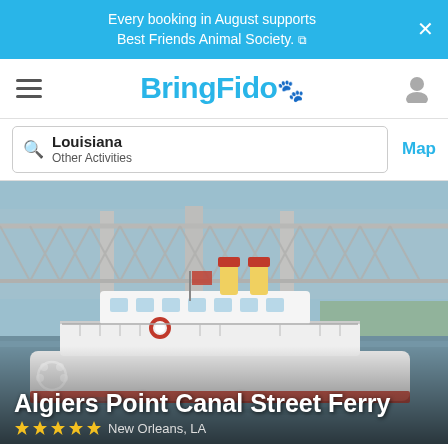Every booking in August supports Best Friends Animal Society.
BringFido
Louisiana
Other Activities
Map
[Figure (photo): Algiers Point Canal Street Ferry boat on the Mississippi River with the Crescent City Connection bridge in the background. White ferry with red accents and smokestacks visible.]
Algiers Point Canal Street Ferry
New Orleans, LA